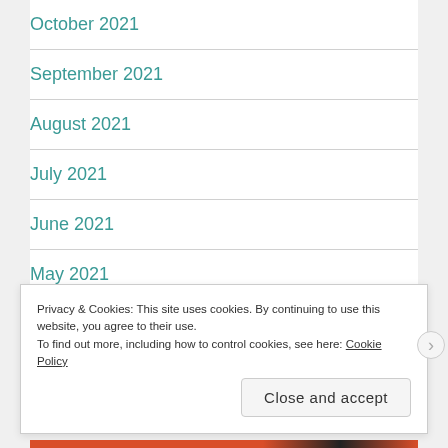October 2021
September 2021
August 2021
July 2021
June 2021
May 2021
April 2021
Privacy & Cookies: This site uses cookies. By continuing to use this website, you agree to their use.
To find out more, including how to control cookies, see here: Cookie Policy
Close and accept